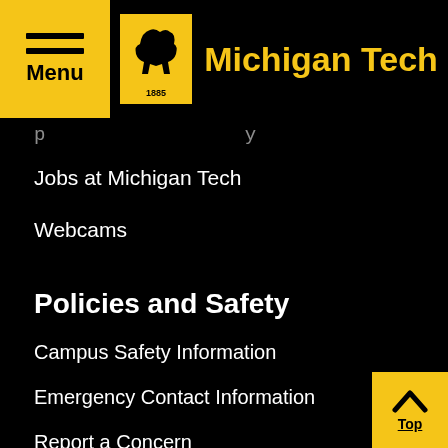Michigan Tech
Jobs at Michigan Tech
Webcams
Policies and Safety
Campus Safety Information
Emergency Contact Information
Report a Concern
Public Safety / Police Services
Student Disclosures
Title IX
University Policies